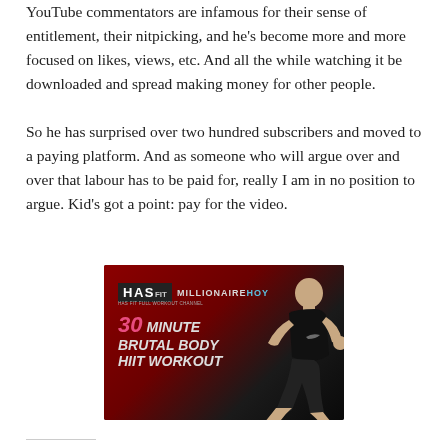YouTube commentators are infamous for their sense of entitlement, their nitpicking, and he's become more and more focused on likes, views, etc. And all the while watching it be downloaded and spread making money for other people.
So he has surprised over two hundred subscribers and moved to a paying platform. And as someone who will argue over and over that labour has to be paid for, really I am in no position to argue. Kid's got a point: pay for the video.
[Figure (screenshot): A workout video thumbnail showing HASfit logo and MILLIONAIRE HOY branding, with text '30 MINUTE BRUTAL BODY HIIT WORKOUT' and an athlete running on a dark red/black background]